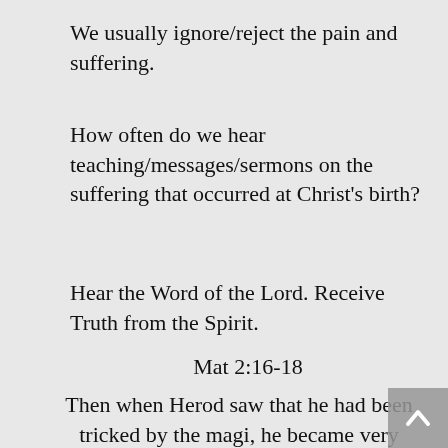We usually ignore/reject the pain and suffering.
How often do we hear teaching/messages/sermons on the suffering that occurred at Christ's birth?
Hear the Word of the Lord. Receive Truth from the Spirit.
Mat 2:16-18
Then when Herod saw that he had been tricked by the magi, he became very